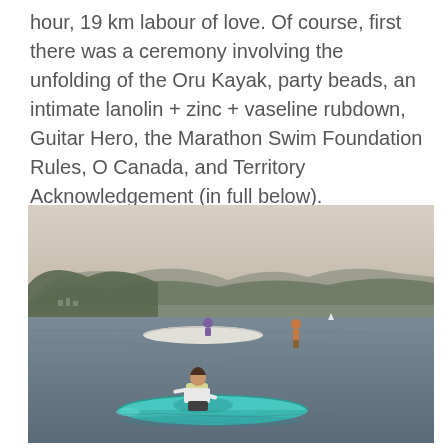hour, 19 km labour of love. Of course, first there was a ceremony involving the unfolding of the Oru Kayak, party beads, an intimate lanolin + zinc + vaseline rubdown, Guitar Hero, the Marathon Swim Foundation Rules, O Canada, and Territory Acknowledgement (in full below).
[Figure (photo): Outdoor photo on a lake with misty hills in the background. In the foreground, a person sits in a teal/turquoise kayak. In the middle ground, another person is in a white kayak. A third person stands in the water further back. The water is calm and the sky is hazy, suggesting wildfire smoke.]